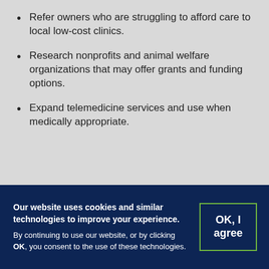Refer owners who are struggling to afford care to local low-cost clinics.
Research nonprofits and animal welfare organizations that may offer grants and funding options.
Expand telemedicine services and use when medically appropriate.
Our website uses cookies and similar technologies to improve your experience. By continuing to use our website, or by clicking OK, you consent to the use of these technologies.